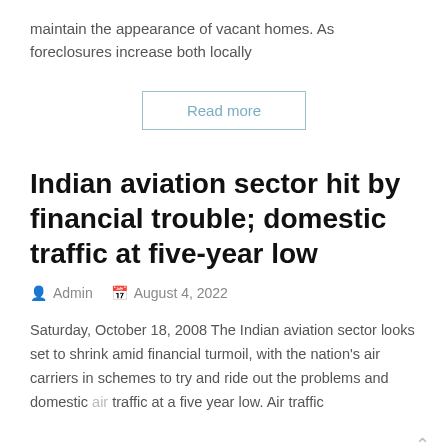maintain the appearance of vacant homes. As foreclosures increase both locally
Read more
Indian aviation sector hit by financial trouble; domestic traffic at five-year low
Admin   August 4, 2022
Saturday, October 18, 2008 The Indian aviation sector looks set to shrink amid financial turmoil, with the nation's air carriers in schemes to try and ride out the problems and domestic air traffic at a five year low. Air traffic